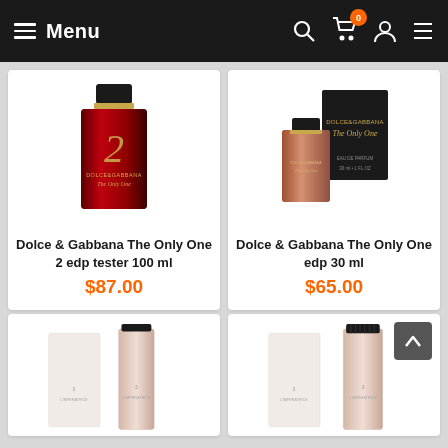Menu
[Figure (photo): Dolce & Gabbana The Only One 2 edp tester 100 ml perfume bottle - dark red rectangular bottle with black cap and gold ring]
Dolce & Gabbana The Only One 2 edp tester 100 ml
$87.00
[Figure (photo): Dolce & Gabbana The Only One edp 30 ml perfume set - peach/pink bottle with black box packaging]
Dolce & Gabbana The Only One edp 30 ml
$65.00
[Figure (photo): Dolce & Gabbana 3 L'Imperatrice perfume bottles - white box with clear glass bottles, partially visible]
[Figure (photo): Dolce & Gabbana 3 L'Imperatrice perfume set - white box with bottles, scroll-up navigation button overlay, partially visible]